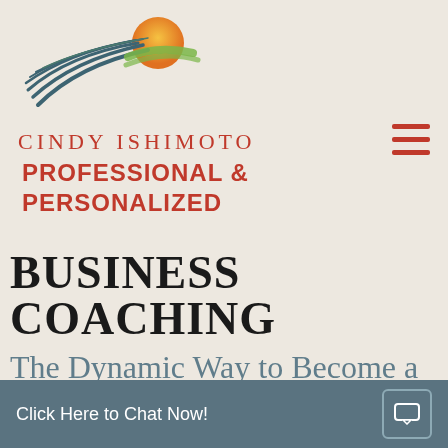[Figure (logo): Cindy Ishimoto logo: abstract bird/feather strokes in dark teal with orange sun circle and green accent, above the brand name]
CINDY ISHIMOTO
[Figure (other): Hamburger menu icon: three horizontal red bars on the top right]
PROFESSIONAL & PERSONALIZED
BUSINESS COACHING
The Dynamic Way to Become a
Click Here to Chat Now!